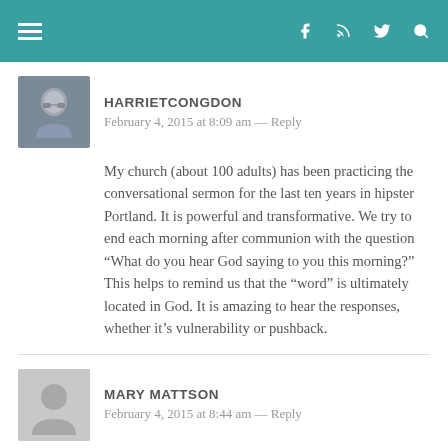Navigation bar with menu icon and social icons (Facebook, RSS, Twitter, Search)
HARRIETCONGDON
February 4, 2015 at 8:09 am — Reply
My church (about 100 adults) has been practicing the conversational sermon for the last ten years in hipster Portland. It is powerful and transformative. We try to end each morning after communion with the question “What do you hear God saying to you this morning?” This helps to remind us that the “word” is ultimately located in God. It is amazing to hear the responses, whether it’s vulnerability or pushback.
MARY MATTSON
February 4, 2015 at 8:44 am — Reply